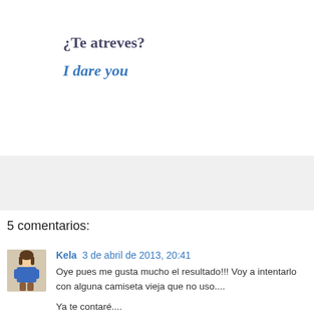¿Te atreves?
I dare you
[Figure (other): Gray advertisement/banner block]
5 comentarios:
Kela  3 de abril de 2013, 20:41
Oye pues me gusta mucho el resultado!!! Voy a intentarlo con alguna camiseta vieja que no uso....

Ya te contaré....

Besos...